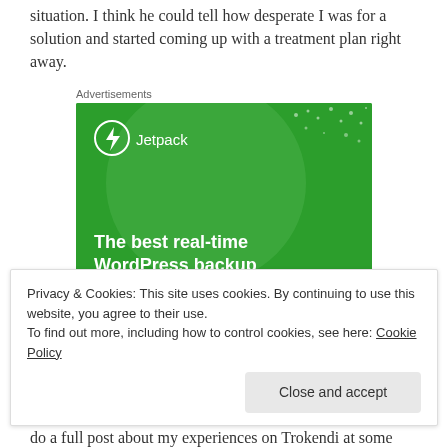situation. I think he could tell how desperate I was for a solution and started coming up with a treatment plan right away.
Advertisements
[Figure (illustration): Jetpack advertisement banner. Green background with large light green circle and dots. Shows Jetpack logo (lightning bolt in circle) and text: 'The best real-time WordPress backup plugin' with a 'Back up your site' button.]
Privacy & Cookies: This site uses cookies. By continuing to use this website, you agree to their use. To find out more, including how to control cookies, see here: Cookie Policy
do a full post about my experiences on Trokendi at some